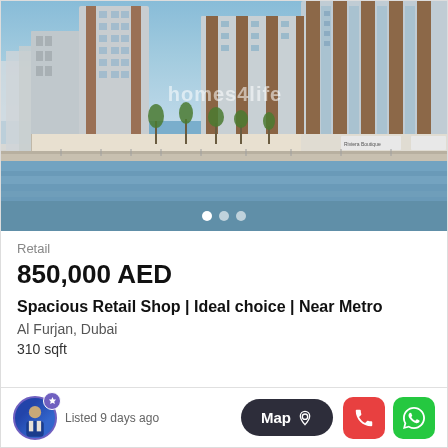[Figure (photo): Waterfront development rendering showing modern high-rise residential and retail buildings along a promenade with water in the foreground. Homes4life watermark visible.]
Retail
850,000 AED
Spacious Retail Shop | Ideal choice | Near Metro
Al Furjan, Dubai
310 sqft
Listed 9 days ago
Map